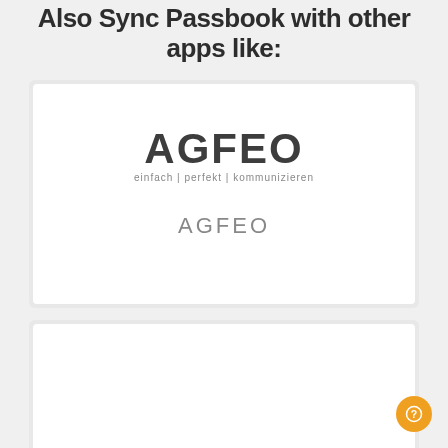Also Sync Passbook with other apps like:
[Figure (logo): AGFEO logo with tagline 'einfach | perfekt | kommunizieren' and label 'AGFEO' below]
[Figure (logo): AGFEOtel logo with AGFEO in dark blue bold and 'tel' in red italic]